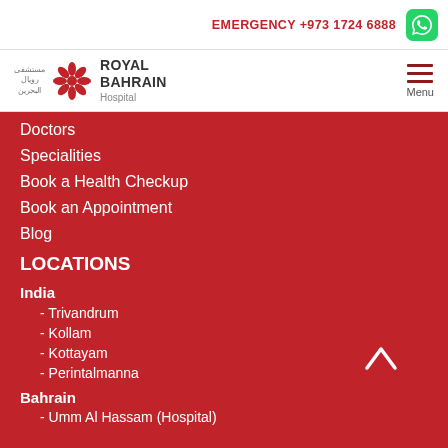EMERGENCY +973 1724 6888
[Figure (logo): Royal Bahrain Hospital logo with Arabic text and red flower emblem]
Doctors
Specialities
Book a Health Checkup
Book an Appointment
Blog
LOCATIONS
India
- Trivandrum
- Kollam
- Kottayam
- Perintalmanna
Bahrain
Umm Al Hassam (Hospital)